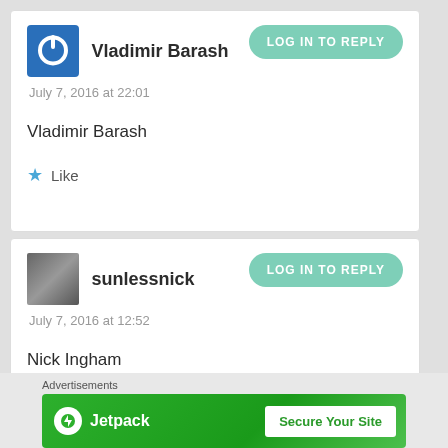Vladimir Barash
July 7, 2016 at 22:01
Vladimir Barash
Like
sunlessnick
July 7, 2016 at 12:52
Nick Ingham
Advertisements
Jetpack
Secure Your Site